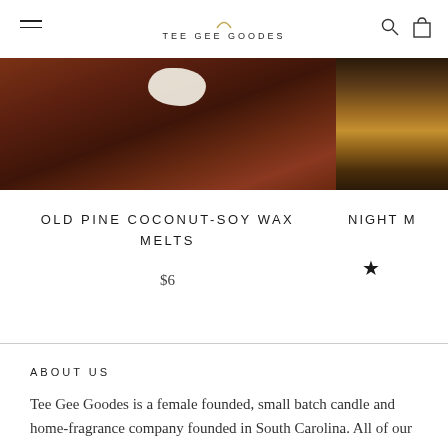TEE GEE GOODES
[Figure (photo): Product photo of Old Pine Coconut-Soy Wax Melts on a dark red-brown wooden surface, showing a white wax melt shape. A partial second product image (Night M...) is visible on the right edge.]
OLD PINE COCONUT-SOY WAX MELTS
$6
ABOUT US
Tee Gee Goodes is a female founded, small batch candle and home-fragrance company founded in South Carolina. All of our products are made with sustainable, clean ingredients and are thoughtfully hand-poured in our Edgefield, South Carolina studio.